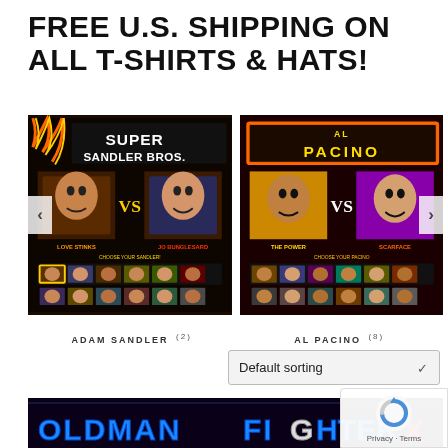FREE U.S. SHIPPING ON ALL T-SHIRTS & HATS!
[Figure (screenshot): Game-style product image for Super Sandler Bros showing fighting game character select screen with Adam Sandler characters labeled LOVE STINKS and JO BUNGLESARD, CHOOSE YOUR SANDLER]
[Figure (screenshot): Game-style product image for Al Pacino showing fighting game character select screen with Al Pacino characters labeled THE POWER and SCARFACE, CHOOSE YOUR PACINO]
ADAM SANDLER (2)
AL PACINO (8)
Default sorting
[Figure (screenshot): Partial bottom image showing OLD MAN FIGHTER X logo in blue and red lettering on dark background]
Privacy · Terms